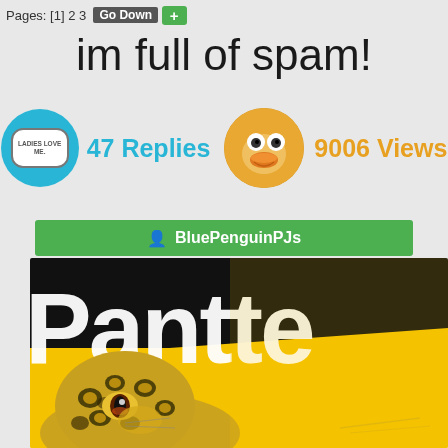Pages: [1] 2 3  Go Down  +
im full of spam!
47 Replies   9006 Views
BluePenguinPJs
[Figure (photo): Close-up photo of a Pantene product bottle with yellow background, with a leopard/cheetah plush toy in the foreground]